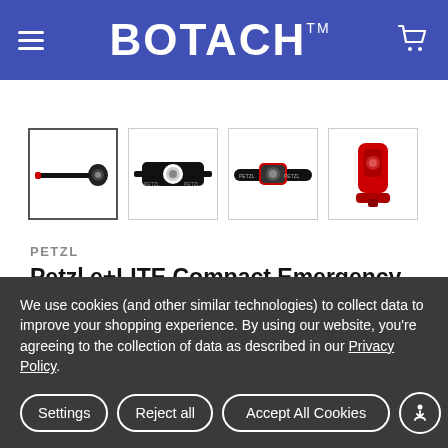BOTACH™
[Figure (photo): Four thumbnail images of Petzl e+LITE Compact Emergency Headlamp: (1) headlamp extended flat side view, (2) front face view showing lens, (3) headlamp with red highlight on headband, (4) red standalone clip unit]
PETZL
Petzl e+LITE Compact Emergency Headlamp
We use cookies (and other similar technologies) to collect data to improve your shopping experience. By using our website, you're agreeing to the collection of data as described in our Privacy Policy.
Settings | Reject all | Accept All Cookies